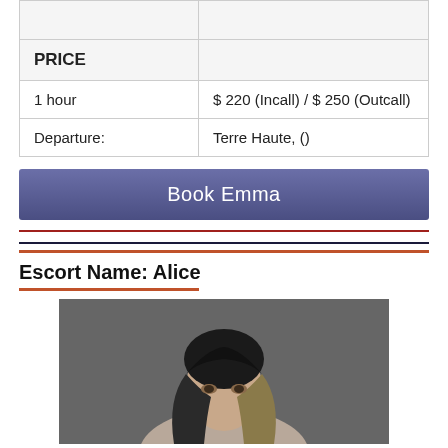|  |  |
| --- | --- |
| PRICE |  |
| 1 hour | $ 220 (Incall) / $ 250 (Outcall) |
| Departure: | Terre Haute, () |
Book Emma
Escort Name: Alice
[Figure (photo): Portrait photo of a woman with long dark ombre hair against a grey background]